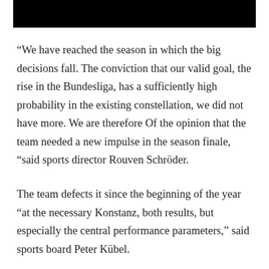[Figure (other): Black redacted bar at top of page]
“We have reached the season in which the big decisions fall. The conviction that our valid goal, the rise in the Bundesliga, has a sufficiently high probability in the existing constellation, we did not have more. We are therefore Of the opinion that the team needed a new impulse in the season finale, “said sports director Rouven Schröder.
The team defects it since the beginning of the year “at the necessary Konstanz, both results, but especially the central performance parameters,” said sports board Peter Kübel.